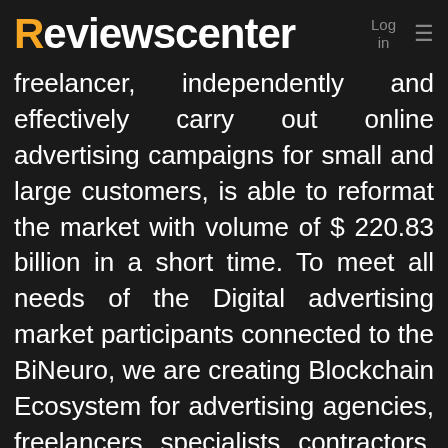Reviewscenter  Log in  ≡
freelancer, independently and effectively carry out online advertising campaigns for small and large customers, is able to reformat the market with volume of $ 220.83 billion in a short time. To meet all needs of the Digital advertising market participants connected to the BiNeuro, we are creating Blockchain Ecosystem for advertising agencies, freelancers, specialists, contractors, bloggers, offline agencies, clients, etc. So if you want to invest in the project that not just promise, but has been already working, you sho focus your attention to BiNeuro Token S